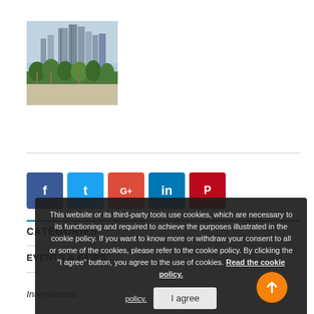[Figure (photo): City skyline with tall skyscrapers and palm trees in the foreground, likely Dubai Marina]
[Figure (infographic): Row of social sharing buttons: Facebook (dark blue), Twitter (blue), Google+ (red), LinkedIn (teal), Pinterest (red)]
CATEGORIES
EVENTS & FAIRS
International
This website or its third-party tools use cookies, which are necessary to its functioning and required to achieve the purposes illustrated in the cookie policy. If you want to know more or withdraw your consent to all or some of the cookies, please refer to the cookie policy. By clicking the "I agree" button, you agree to the use of cookies. Read the cookie policy. I agree